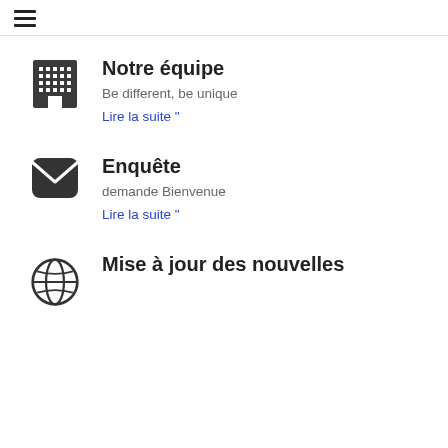≡
Notre équipe
Be different, be unique
Lire la suite "
Enquête
demande Bienvenue
Lire la suite "
Mise à jour des nouvelles